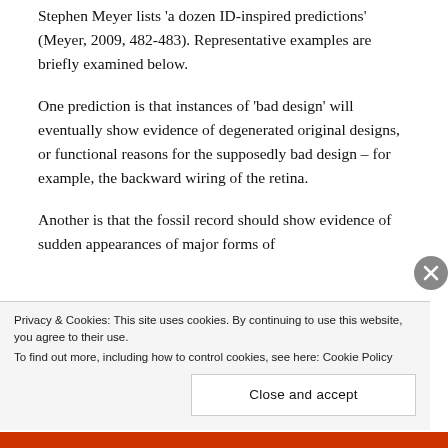Stephen Meyer lists 'a dozen ID-inspired predictions' (Meyer, 2009, 482-483). Representative examples are briefly examined below.
One prediction is that instances of 'bad design' will eventually show evidence of degenerated original designs, or functional reasons for the supposedly bad design – for example, the backward wiring of the retina.
Another is that the fossil record should show evidence of sudden appearances of major forms of
Privacy & Cookies: This site uses cookies. By continuing to use this website, you agree to their use.
To find out more, including how to control cookies, see here: Cookie Policy
Close and accept